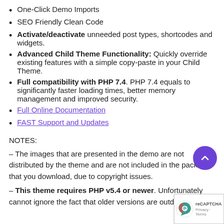One-Click Demo Imports
SEO Friendly Clean Code
Activate/deactivate unneeded post types, shortcodes and widgets.
Advanced Child Theme Functionality: Quickly override existing features with a simple copy-paste in your Child Theme.
Full compatibility with PHP 7.4. PHP 7.4 equals to significantly faster loading times, better memory management and improved security.
Full Online Documentation
FAST Support and Updates
NOTES:
– The images that are presented in the demo are not distributed by the theme and are not included in the package that you download, due to copyright issues.
– This theme requires PHP v5.4 or newer. Unfortunately cannot ignore the fact that older versions are outdated and